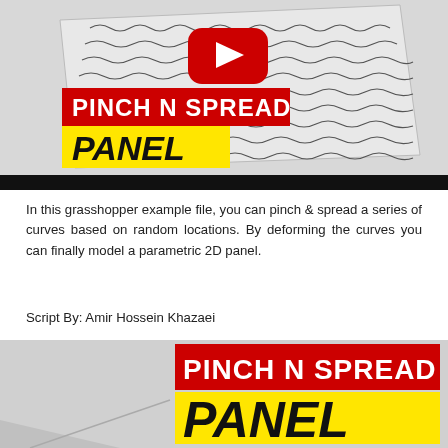[Figure (illustration): YouTube video thumbnail showing a 3D parametric panel with wavy lines, a red YouTube play button icon, and overlaid text 'PINCH N SPREAD PANEL' with red and yellow background labels. Black bar at bottom.]
In this grasshopper example file, you can pinch & spread a series of curves based on random locations. By deforming the curves you can finally model a parametric 2D panel.
Script By: Amir Hossein Khazaei
[Figure (illustration): Partial view of a 3D parametric panel design with a logo/title overlay reading 'PINCH N SPREAD PANEL' in red box (white text) and yellow box (black italic text).]